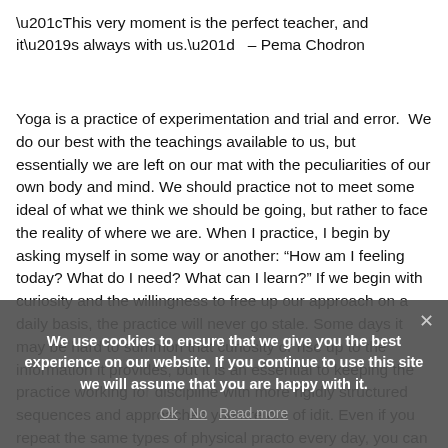“This very moment is the perfect teacher, and it’s always with us.”  – Pema Chodron
Yoga is a practice of experimentation and trial and error.  We do our best with the teachings available to us, but essentially we are left on our mat with the peculiarities of our own body and mind. We should practice not to meet some ideal of what we think we should be going, but rather to face the reality of where we are. When I practice, I begin by asking myself in some way or another: “How am I feeling today? What do I need? What can I learn?” If we begin with curiosity and the willingness to free up our approach on a daily basis, the practice will never go stale. Some days it may be hard to summon that curiosity or rise up to the information it provides, but it is an essential to keeping the practice working fo discipline with more rigidly structured sequences and approaches you are out of idit. Even if you repeat the same types of physical practo every day, you can query the emotional responses, and subtle and not so subtle physical
We use cookies to ensure that we give you the best experience on our website. If you continue to use this site we will assume that you are happy with it.